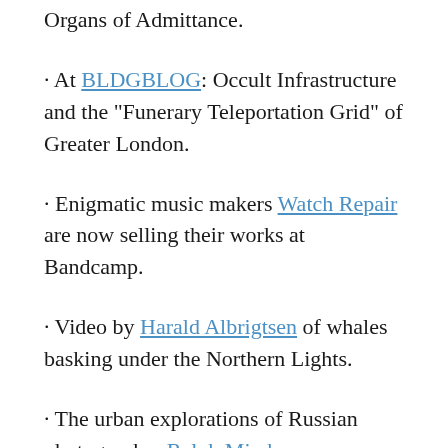Organs of Admittance.
· At BLDGBLOG: Occult Infrastructure and the “Funerary Teleportation Grid” of Greater London.
· Enigmatic music makers Watch Repair are now selling their works at Bandcamp.
· Video by Harald Albrigtsen of whales basking under the Northern Lights.
· The urban explorations of Russian photographer Ralph Mirebs.
· Mix of the week: Secret Thirteen Mix 164 by Discipula